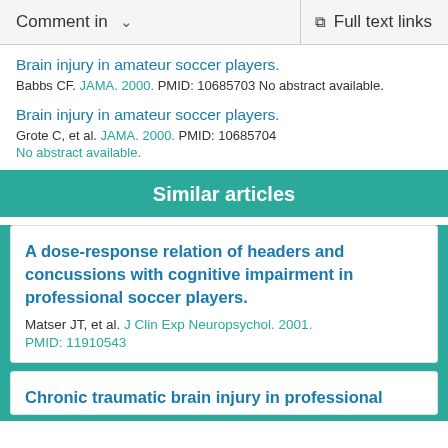Comment in   Full text links
Brain injury in amateur soccer players. Babbs CF. JAMA. 2000. PMID: 10685703 No abstract available.
Brain injury in amateur soccer players. Grote C, et al. JAMA. 2000. PMID: 10685704 No abstract available.
Similar articles
A dose-response relation of headers and concussions with cognitive impairment in professional soccer players. Matser JT, et al. J Clin Exp Neuropsychol. 2001. PMID: 11910543
Chronic traumatic brain injury in professional